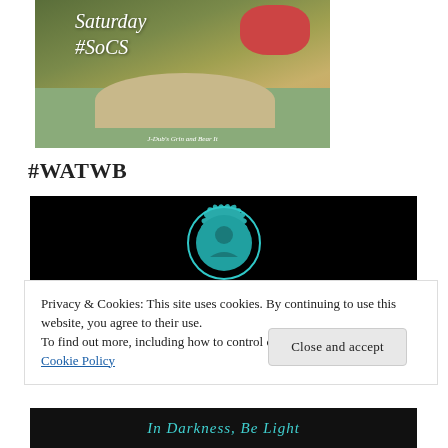[Figure (photo): Photo showing a river walk or canal with stone path, green water, red flowers, and text overlay reading 'Saturday #SoCS' with credit 'J-Dub's Grin and Bear It']
#WATWB
[Figure (logo): Black background image with teal/turquoise circular decorative logo containing a figure, associated with #WATWB]
Privacy & Cookies: This site uses cookies. By continuing to use this website, you agree to their use.
To find out more, including how to control cookies, see here:
Cookie Policy
[Figure (screenshot): Bottom portion of black background image with teal text reading 'In Darkness, Be Light']